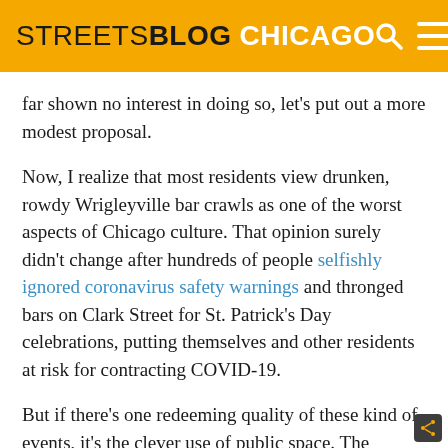STREETSBLOG CHICAGO
far shown no interest in doing so, let's put out a more modest proposal.
Now, I realize that most residents view drunken, rowdy Wrigleyville bar crawls as one of the worst aspects of Chicago culture. That opinion surely didn't change after hundreds of people selfishly ignored coronavirus safety warnings and thronged bars on Clark Street for St. Patrick's Day celebrations, putting themselves and other residents at risk for contracting COVID-19.
But if there's one redeeming quality of these kind of events, it's the clever use of public space. The parking lanes along Clark are cordoned off with